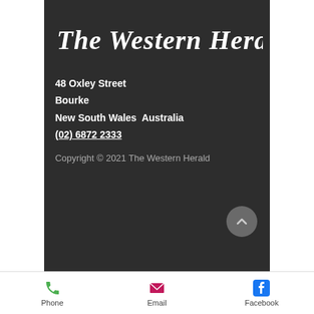The Western Herald
48 Oxley Street
Bourke
New South Wales  Australia
(02) 6872 2333
Copyright © 2021 The Western Herald
Phone  Email  Facebook